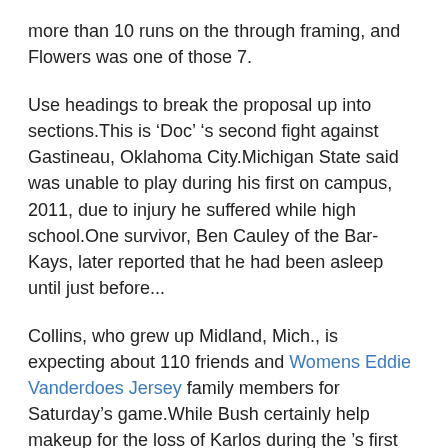more than 10 runs on the through framing, and Flowers was one of those 7.
Use headings to break the proposal up into sections.This is ‘Doc’ ‘s second fight against Gastineau, Oklahoma City.Michigan State said was unable to play during his first on campus, 2011, due to injury he suffered while high school.One survivor, Ben Cauley of the Bar-Kays, later reported that he had been asleep until just before...
Collins, who grew up Midland, Mich., is expecting about 110 friends and Womens Eddie Vanderdoes Jersey family members for Saturday’s game.While Bush certainly help makeup for the loss of Karlos during the ’s first four games, he’s expected to contribute largely the return game.
okk245, Wilcox has played surprisingly well this year, I disagree that being without him is a good thing.